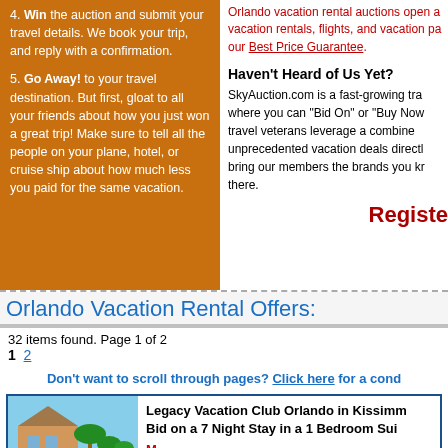4. Win the auction and submit your travel details. We book your trip, and reply with a confirmation.
5. Go Away! to your travel destination. But first, gloat to all your friends about how you just won a great trip! Make sure to tell all the people on your plane, hotel, or cruise ship about how much less you paid for the same vacation.
Orlando vacation rental auctions open a vacation rentals, flights, and vacation pa our Best Price Guarantee.
Haven't Heard of Us Yet?
SkyAuction.com is a fast-growing tra where you can "Bid On" or "Buy Now travel veterans leverage a combine unprecedented vacation deals directl bring our members the brands you kr there.
Registe
Orlando Vacation Rental Offers:
32 items found. Page 1 of 2
1  2
Don't want to scroll through pages? Click here for a cond
Legacy Vacation Club Orlando in Kissimm Bid on a 7 Night Stay in a 1 Bedroom Sui
M